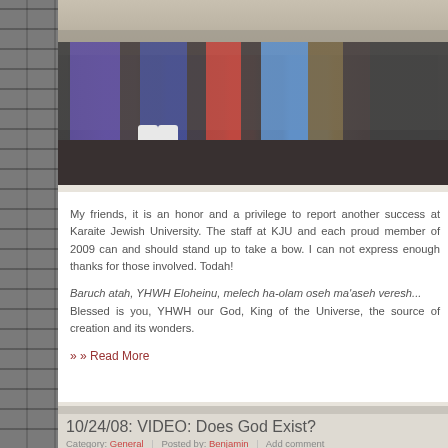[Figure (photo): Group photo of people standing outdoors, one person kneeling/crouching wearing blue jacket with white tallit/prayer shawl, others standing around, wet ground visible]
My friends, it is an honor and a privilege to report another success at Karaite Jewish University. The staff at KJU and each proud member of 2009 can and should stand up to take a bow. I can not express enough thanks for those involved. Todah!
Baruch atah, YHWH Eloheinu, melech ha-olam oseh ma'aseh veresh... Blessed is you, YHWH our God, King of the Universe, the source of creation and its wonders.
» Read More
10/24/08: VIDEO: Does God Exist?
Category: General | Posted by: Benjamin | Add comment